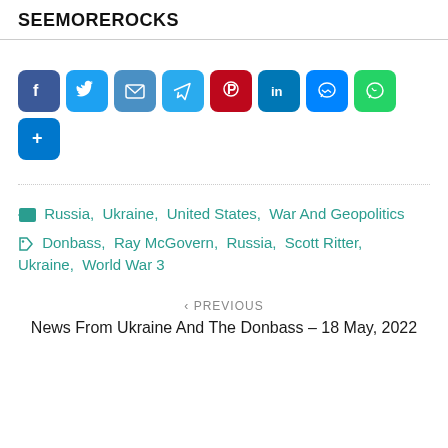SEEMOREROCKS
[Figure (infographic): Social share buttons row: Facebook, Twitter, Email, Telegram, Pinterest, LinkedIn, Messenger, WhatsApp, More (+)]
Russia, Ukraine, United States, War And Geopolitics
Donbass, Ray McGovern, Russia, Scott Ritter, Ukraine, World War 3
< PREVIOUS
News From Ukraine And The Donbass – 18 May, 2022